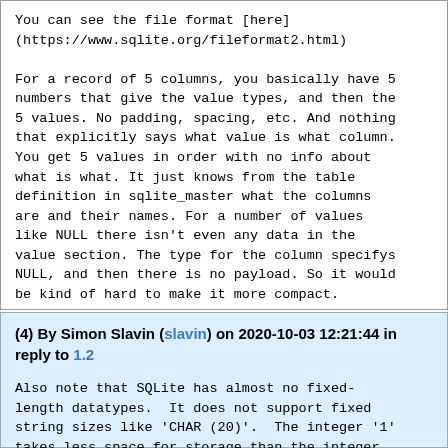You can see the file format [here] (https://www.sqlite.org/fileformat2.html)

For a record of 5 columns, you basically have 5 numbers that give the value types, and then the 5 values. No padding, spacing, etc. And nothing that explicitly says what value is what column. You get 5 values in order with no info about what is what. It just knows from the table definition in sqlite_master what the columns are and their names. For a number of values like NULL there isn't even any data in the value section. The type for the column specifys NULL, and then there is no payload. So it would be kind of hard to make it more compact.
Reply
(4) By Simon Slavin (slavin) on 2020-10-03 12:21:44 in reply to 1.2
Also note that SQLite has almost no fixed-length datatypes.  It does not support fixed string sizes like 'CHAR (20)'.  The integer '1' takes less space for storage than the integer